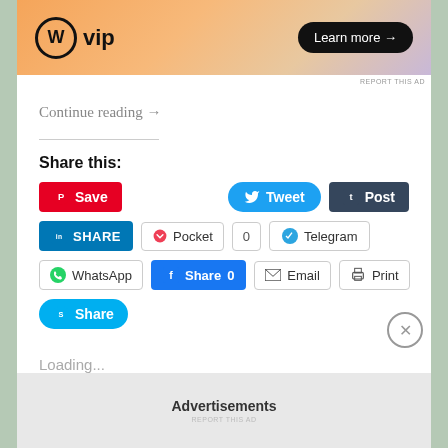[Figure (screenshot): WordPress VIP advertisement banner with orange/purple gradient background, WP VIP logo on left and 'Learn more →' button on right]
REPORT THIS AD
Continue reading →
Share this:
Save  Tweet  Post  SHARE  Pocket  0  Telegram  WhatsApp  Share 0  Email  Print  Share
Loading...
Advertisements
REPORT THIS AD